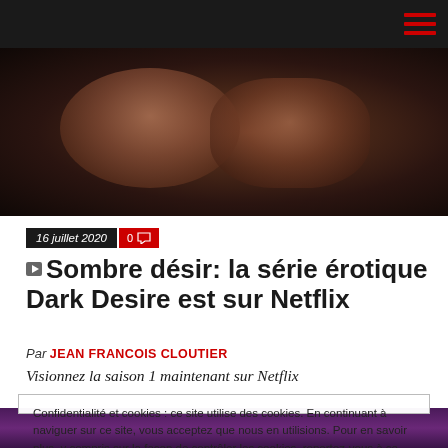Navigation bar with hamburger menu
[Figure (photo): Dark close-up photo showing faces of people in an intimate scene]
16 juillet 2020  0 [comment icon]
Sombre désir: la série érotique Dark Desire est sur Netflix
Par JEAN FRANCOIS CLOUTIER
Visionnez la saison 1 maintenant sur Netflix
Confidentialité et cookies : ce site utilise des cookies. En continuant à naviguer sur ce site, vous acceptez que nous en utilisions. Pour en savoir plus, y compris sur la façon de contrôler les cookies, reportez-vous à ce qui suit : Politique relative aux cookies
Fermer et accepter
[Figure (photo): Dark purple-toned image at the bottom of the page]